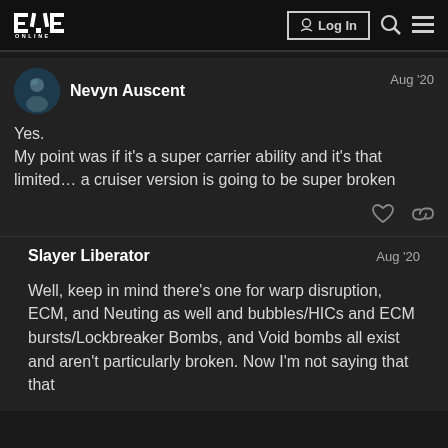EVE ONLINE — Log In
Nevyn Auscent — Aug '20
Yes.
My point was if it's a super carrier ability and it's that limited… a cruiser version is going to be super broken
Slayer Liberator — Aug '20
Well, keep in mind there's one for warp disruption, ECM, and Neuting as well and bubbles/HICs and ECM bursts/Lockbreaker Bombs, and Void bombs all exist and aren't particularly broken. Now I'm not saying that that